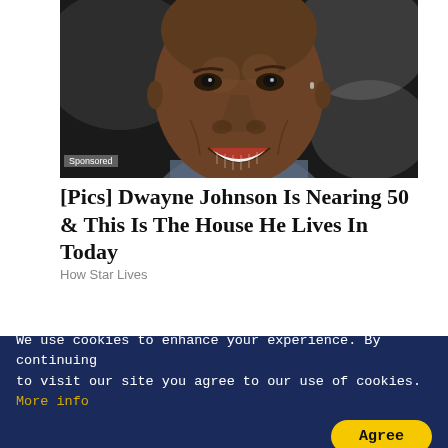[Figure (photo): Close-up portrait of a smiling bald man in a suit, dark background]
Sponsored
[Pics] Dwayne Johnson Is Nearing 50 & This Is The House He Lives In Today
How Star Lives
[Figure (photo): Partially visible photo with gradient overlay, bottom portion of an advertisement]
[Figure (photo): Small thumbnail image of a colorful market or mall scene]
Big Ukrainian Malls D
We use cookies to enhance your experience. By continuing to visit our site you agree to our use of cookies. More info
Agree